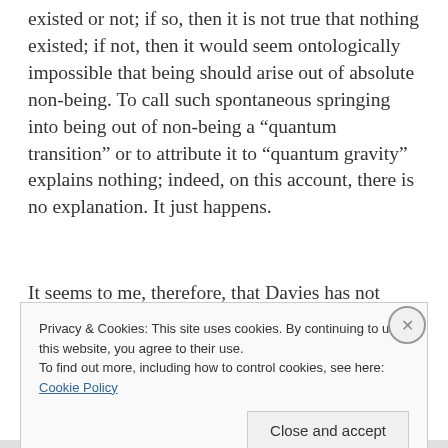existed or not; if so, then it is not true that nothing existed; if not, then it would seem ontologically impossible that being should arise out of absolute non-being. To call such spontaneous springing into being out of non-being a “quantum transition” or to attribute it to “quantum gravity” explains nothing; indeed, on this account, there is no explanation. It just happens.
It seems to me, therefore, that Davies has not
Privacy & Cookies: This site uses cookies. By continuing to use this website, you agree to their use.
To find out more, including how to control cookies, see here:
Cookie Policy
Close and accept